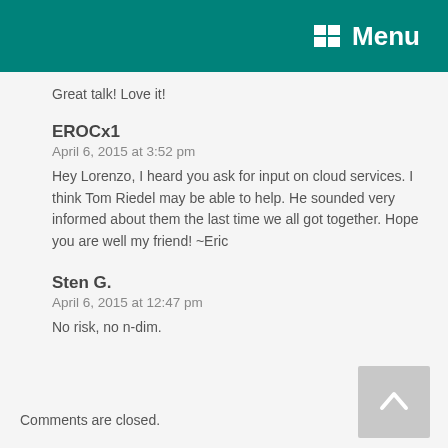Menu
Great talk! Love it!
EROCx1
April 6, 2015 at 3:52 pm
Hey Lorenzo, I heard you ask for input on cloud services. I think Tom Riedel may be able to help. He sounded very informed about them the last time we all got together. Hope you are well my friend! ~Eric
Sten G.
April 6, 2015 at 12:47 pm
No risk, no n-dim.
Comments are closed.